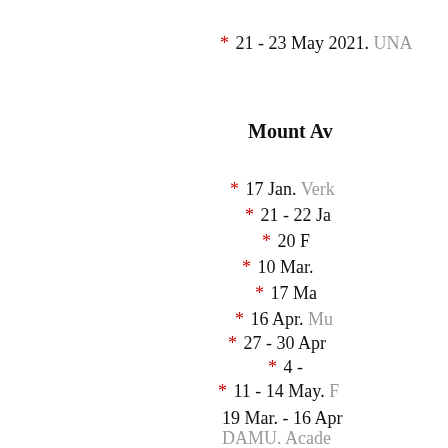* 21 - 23 May 2021. UNA…
Mount Av…
* 17 Jan. Verk…
* 21 - 22 Ja…
* 20 F…
* 10 Mar.
* 17 Ma…
* 16 Apr. Mu…
* 27 - 30 Apr…
* 4 -…
* 11 - 14 May. F…
19 Mar. - 16 Apr…
DAMU. Acade…